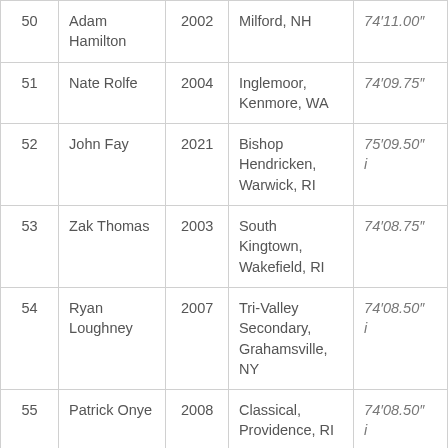| # | Name | Year | School | Mark |
| --- | --- | --- | --- | --- |
| 50 | Adam Hamilton | 2002 | Milford, NH | 74'11.00" |
| 51 | Nate Rolfe | 2004 | Inglemoor, Kenmore, WA | 74'09.75" |
| 52 | John Fay | 2021 | Bishop Hendricken, Warwick, RI | 75'09.50" i |
| 53 | Zak Thomas | 2003 | South Kingtown, Wakefield, RI | 74'08.75" |
| 54 | Ryan Loughney | 2007 | Tri-Valley Secondary, Grahamsville, NY | 74'08.50" i |
| 55 | Patrick Onye | 2008 | Classical, Providence, RI | 74'08.50" i |